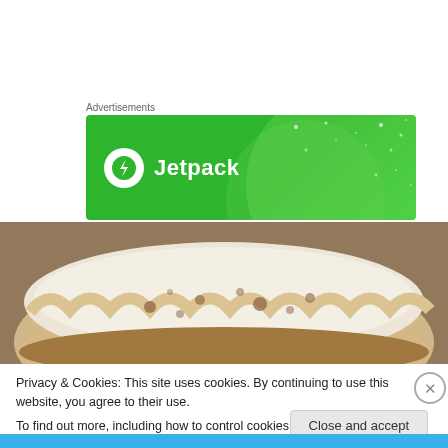Advertisements
[Figure (logo): Jetpack advertisement banner with green background, lightning bolt logo circle, and white bold text 'Jetpack']
[Figure (photo): Close-up photo of a powdered sugar dusted pie or pastry on a wooden surface]
Privacy & Cookies: This site uses cookies. By continuing to use this website, you agree to their use.
To find out more, including how to control cookies, see here: Cookie Policy
Close and accept